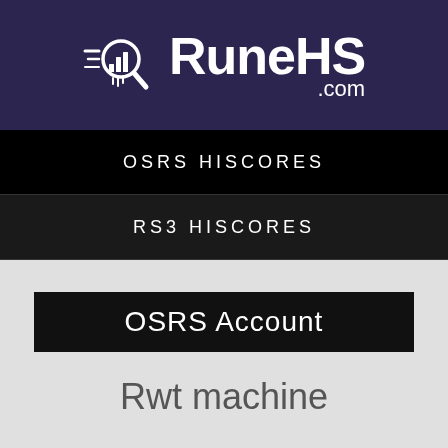[Figure (logo): RuneHS.com logo with magnifying glass icon containing a bar chart, white text on dark purple/navy background]
OSRS HISCORES
RS3 HISCORES
OSRS Account
Rwt machine